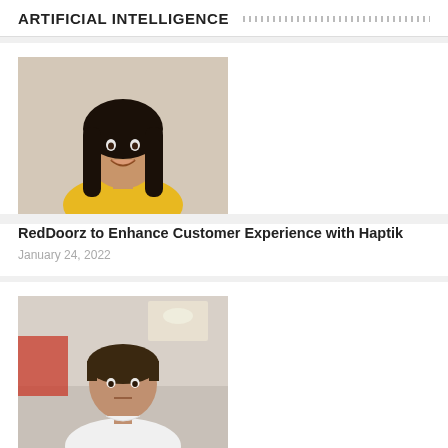ARTIFICIAL INTELLIGENCE
[Figure (photo): Portrait photo of a young woman with long dark hair, smiling, wearing a yellow top]
RedDoorz to Enhance Customer Experience with Haptik
January 24, 2022
[Figure (photo): Photo of a young man in a white t-shirt sitting in an office environment]
Indian AI Start-up Mate Labs Develops World's Fastest And Most Accurate
June 16, 2021